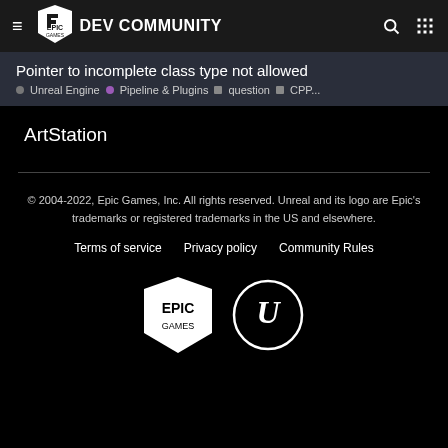EPIC GAMES DEV COMMUNITY
Pointer to incomplete class type not allowed
Unreal Engine · Pipeline & Plugins · question · CPP...
ArtStation
© 2004-2022, Epic Games, Inc. All rights reserved. Unreal and its logo are Epic's trademarks or registered trademarks in the US and elsewhere.
Terms of service  Privacy policy  Community Rules